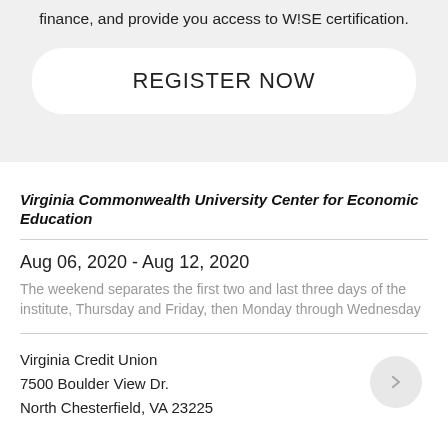finance, and provide you access to W!SE certification.
REGISTER NOW
Virginia Commonwealth University Center for Economic Education
Aug 06, 2020 - Aug 12, 2020
The weekend separates the first two and last three days of the institute, Thursday and Friday, then Monday through Wednesday
Virginia Credit Union
7500 Boulder View Dr.
North Chesterfield, VA 23225